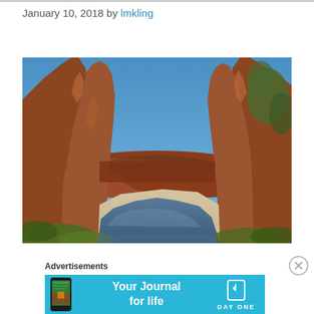January 10, 2018 by lmkling
[Figure (photo): Canyon landscape with red rock formations on both sides, a river flowing through sandy banks in the foreground, and red hills and blue sky in the background. Australian outback scenery.]
Advertisements
[Figure (screenshot): Day One app advertisement banner with cyan/teal background. Shows a phone with app, text 'Your Journal for life' and Day One logo with bookmark icon.]